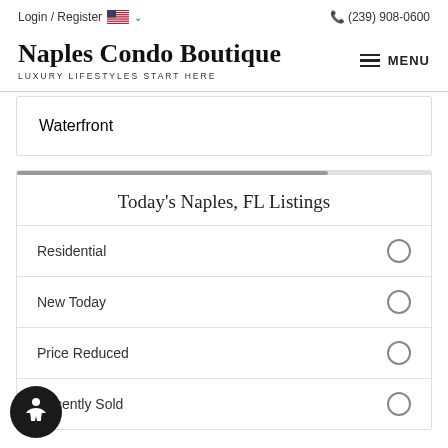Login / Register  🇺🇸 ∨   (239) 908-0600
Naples Condo Boutique
LUXURY LIFESTYLES START HERE
MENU
Waterfront
Today's Naples, FL Listings
Residential
New Today
Price Reduced
Recently Sold